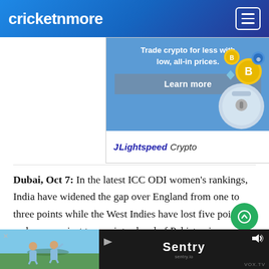cricketnmore
[Figure (screenshot): Lightspeed Crypto advertisement banner: 'Trade crypto for less with low, all-in prices. Learn more' with bitcoin coins and a digital wallet image. Brand: Lightspeed Crypto.]
Dubai, Oct 7: In the latest ICC ODI women's rankings, India have widened the gap over England from one to three points while the West Indies have lost five points and are now just two points ahead of Pakistan in seventh place.
[Figure (screenshot): Bottom advertisement bar showing a video thumbnail of people on a golf cart and a Sentry advertisement with VOX.TV branding.]